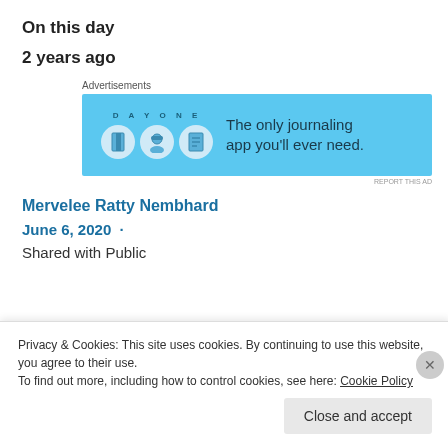On this day
2 years ago
[Figure (screenshot): Advertisement banner for Day One journaling app with blue background, app icons, and text 'The only journaling app you'll ever need.']
Mervelee Ratty Nembhard
June 6, 2020  ·
Shared with Public
Privacy & Cookies: This site uses cookies. By continuing to use this website, you agree to their use.
To find out more, including how to control cookies, see here: Cookie Policy